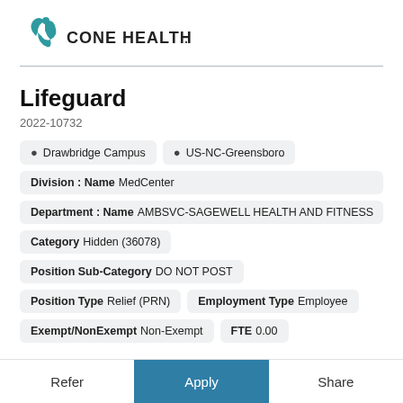[Figure (logo): Cone Health logo with teal leaf/person icon and text CONE HEALTH.]
Lifeguard
2022-10732
Drawbridge Campus
US-NC-Greensboro
Division : Name  MedCenter
Department : Name  AMBSVC-SAGEWELL HEALTH AND FITNESS
Category  Hidden (36078)    Position Sub-Category  DO NOT POST
Position Type  Relief (PRN)    Employment Type  Employee
Exempt/NonExempt  Non-Exempt    FTE  0.00
Refer  Apply  Share